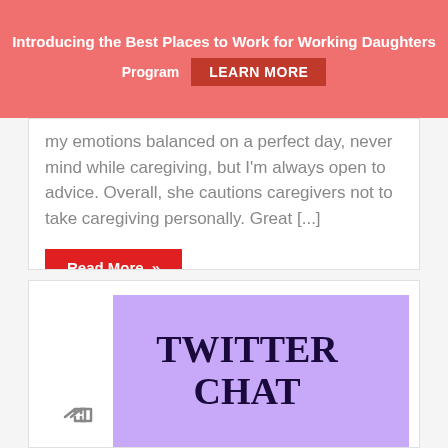Introducing the Best Places to Work for Working Daughters Program LEARN MORE
my emotions balanced on a perfect day, never mind while caregiving, but I'm always open to advice. Overall, she cautions caregivers not to take caregiving personally. Great [...]
Read More »
[Figure (illustration): Purple banner image with bold serif text reading 'TWITTER CHAT']